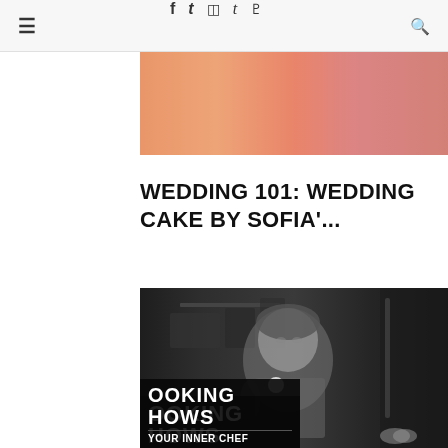≡  f  t  ☷  t  p  🔍
[Figure (photo): Top cropped image of a wedding cake or food item, warm orange and pink tones]
WEDDING 101: WEDDING CAKE BY SOFIA'...
[Figure (photo): Black and white photo of a woman (resembling Julia Child) in a kitchen cooking show setting, with text overlay reading 'COOKING SHOWS' and 'YOUR INNER CHEF']